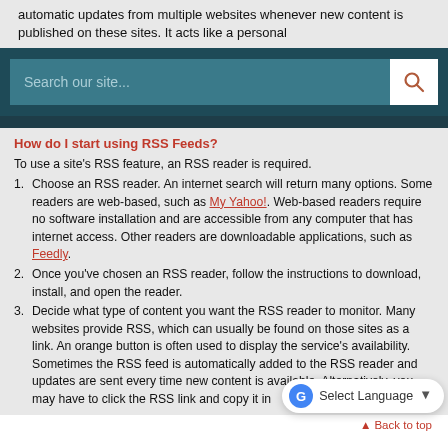automatic updates from multiple websites whenever new content is published on these sites. It acts like a personal
[Figure (screenshot): Search bar UI element with teal background and white search icon box on the right]
How do I start using RSS Feeds?
To use a site's RSS feature, an RSS reader is required.
1. Choose an RSS reader. An internet search will return many options. Some readers are web-based, such as My Yahoo!. Web-based readers require no software installation and are accessible from any computer that has internet access. Other readers are downloadable applications, such as Feedly.
2. Once you've chosen an RSS reader, follow the instructions to download, install, and open the reader.
3. Decide what type of content you want the RSS reader to monitor. Many websites provide RSS, which can usually be found on those sites as a link. An orange button is often used to display the service's availability. Sometimes the RSS feed is automatically added to the RSS reader and updates are sent every time new content is available. Alternatively, you may have to click the RSS link and copy it in
[Figure (screenshot): Google Translate widget: Select Language dropdown button]
▲ Back to top